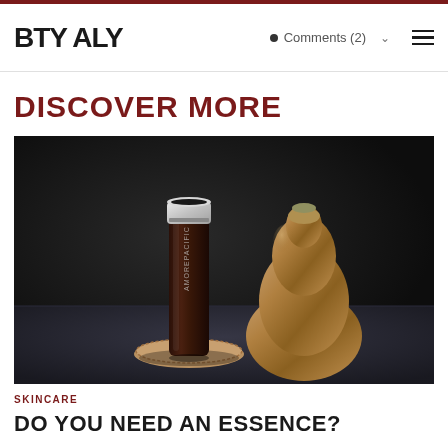BTY ALY  •  Comments (2)
DISCOVER MORE
[Figure (photo): Product photo of an AMOREPACIFIC skincare bottle (dark cylindrical container with silver cap) placed on a stone coaster beside a bronze/copper decorative vase, against a dark background.]
SKINCARE
DO YOU NEED AN ESSENCE?